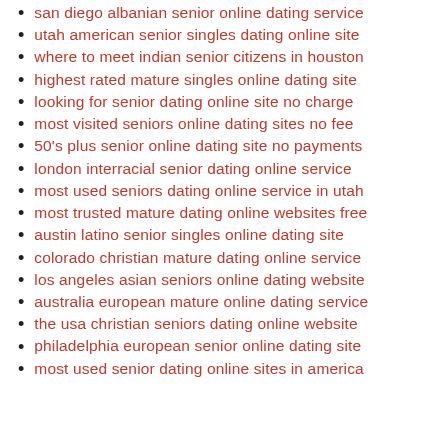san diego albanian senior online dating service
utah american senior singles dating online site
where to meet indian senior citizens in houston
highest rated mature singles online dating site
looking for senior dating online site no charge
most visited seniors online dating sites no fee
50's plus senior online dating site no payments
london interracial senior dating online service
most used seniors dating online service in utah
most trusted mature dating online websites free
austin latino senior singles online dating site
colorado christian mature dating online service
los angeles asian seniors online dating website
australia european mature online dating service
the usa christian seniors dating online website
philadelphia european senior online dating site
most used senior dating online sites in america